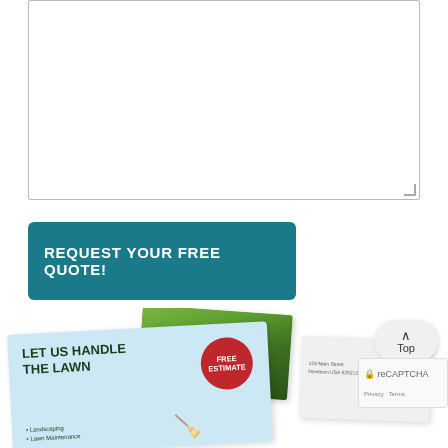[Figure (screenshot): Empty form textarea input field with resize handle at bottom-right corner]
REQUEST YOUR FREE QUOTE!
[Figure (illustration): Marketing materials showing a lawn care postcard with 'LET US HANDLE THE LAWN' text, a FREE ESTIMATE red circle badge, a lawn mower image, a photo of green grass, and a direct mail envelope with address. Also shows a 'Top' navigation button and reCAPTCHA badge.]